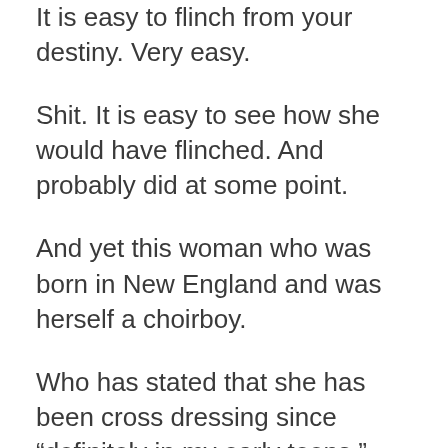It is easy to flinch from your destiny. Very easy.
Shit. It is easy to see how she would have flinched. And probably did at some point.
And yet this woman who was born in New England and was herself a choirboy.
Who has stated that she has been cross dressing since “definitely in my early teens.”
Who has also self-identified herself as genderqueer and a trans woman.